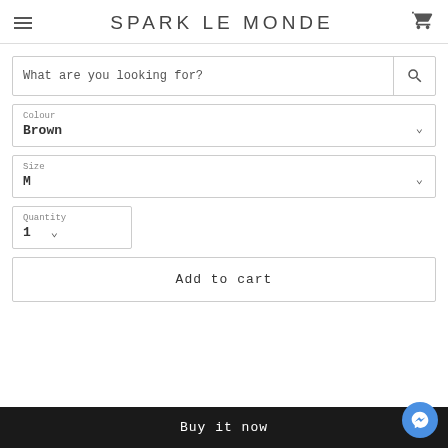SPARK LE MONDE
What are you looking for?
Colour: Brown
Size: M
Quantity: 1
Add to cart
Buy it now